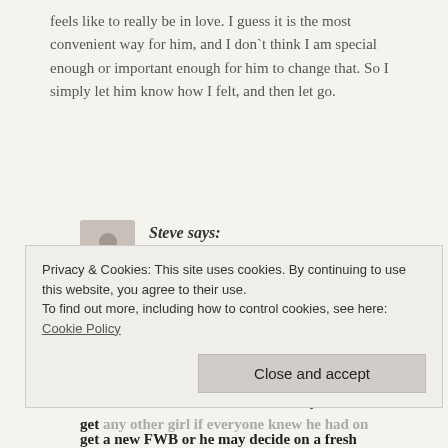feels like to really be in love. I guess it is the most convenient way for him, and I don`t think I am special enough or important enough for him to change that. So I simply let him know how I felt, and then let go.
Steve says: September 18, 2009 at 12:18 pm
Sounds like he was looking for something that he didn't find or found something he didn't know what to do with. I can't comment too much on the FWB thing other than to say, his FWB is not his gf therefore discretion is critical. It would be very hard for him to get any other girl if everyone knew he had on
Privacy & Cookies: This site uses cookies. By continuing to use this website, you agree to their use. To find out more, including how to control cookies, see here: Cookie Policy
Close and accept
get a new FWB or he may decide on a fresh